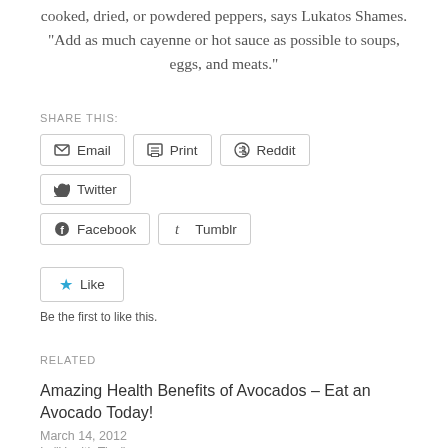cooked, dried, or powdered peppers, says Lukatos Shames. “Add as much cayenne or hot sauce as possible to soups, eggs, and meats.”
SHARE THIS:
Email | Print | Reddit | Twitter | Facebook | Tumblr
Like
Be the first to like this.
RELATED
Amazing Health Benefits of Avocados – Eat an Avocado Today!
March 14, 2012
In "Health Tips"